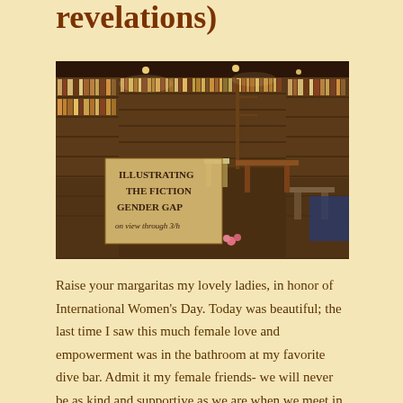revelations)
[Figure (photo): Interior of a bookstore with floor-to-ceiling bookshelves lining the walls. A handwritten sign in the foreground reads 'ILLUSTRATING THE FICTION GENDER GAP on view through 3/h'. Chairs and tables are visible in the background. Warm lighting illuminates the packed shelves.]
Raise your margaritas my lovely ladies, in honor of International Women's Day. Today was beautiful; the last time I saw this much female love and empowerment was in the bathroom at my favorite dive bar. Admit it my female friends- we will never be as kind and supportive as we are when we meet in the restroom